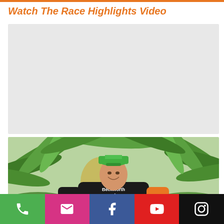Watch The Race Highlights Video
[Figure (other): Video placeholder area (light gray rectangle where video would embed)]
[Figure (photo): Man wearing a green cycling cap and Beckworth Racing jersey, standing in front of palm trees in a tropical outdoor setting]
Phone | Email | Facebook | YouTube | Instagram